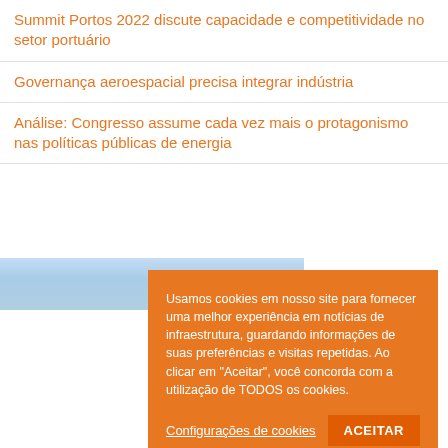Summit Portos 2022 discute capacidade e competitividade no setor portuário
Governança aeroespacial precisa integrar indústria
Análise: Congresso assume cada vez mais o protagonismo nas políticas públicas de energia
[Figure (photo): Partial sky/clouds photo behind cookie consent banner]
Usamos cookies em nosso site para fornecer uma melhor experiência em notícias de infraestrutura, guardando informações de suas preferências e visitas repetidas. Ao clicar em "Aceitar", você concorda com a utilização de TODOS os cookies.
Configurações de cookies
ACEITAR